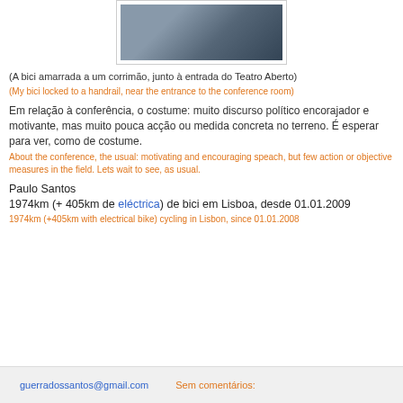[Figure (photo): Photo of a bicycle locked to a handrail near the entrance to a conference room (Teatro Aberto). Partial view showing bicycle and bags.]
(A bici amarrada a um corrimão, junto à entrada do Teatro Aberto)
(My bici locked to a handrail, near the entrance to the conference room)
Em relação à conferência, o costume: muito discurso político encorajador e motivante, mas muito pouca acção ou medida concreta no terreno. É esperar para ver, como de costume.
About the conference, the usual: motivating and encouraging speach, but few action or objective measures in the field. Lets wait to see, as usual.
Paulo Santos
1974km (+ 405km de eléctrica) de bici em Lisboa, desde 01.01.2009
1974km (+405km with electrical bike) cycling in Lisbon, since 01.01.2008
guerradossantos@gmail.com    Sem comentários: